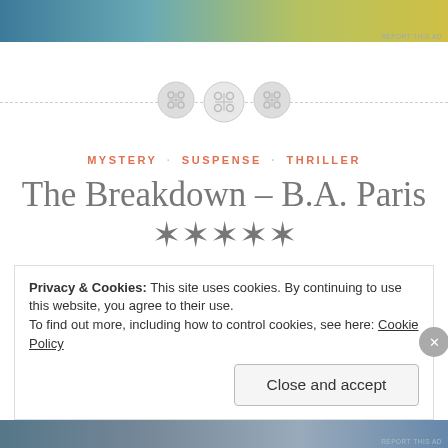[Figure (other): Advertisement banner with gradient from teal/blue to yellow-green]
[Figure (illustration): Three decorative button icons in a row with dashed horizontal divider line]
MYSTERY · SUSPENSE · THRILLER
The Breakdown – B.A. Paris ✶✶✶✶✶
Privacy & Cookies: This site uses cookies. By continuing to use this website, you agree to their use.
To find out more, including how to control cookies, see here: Cookie Policy
Close and accept